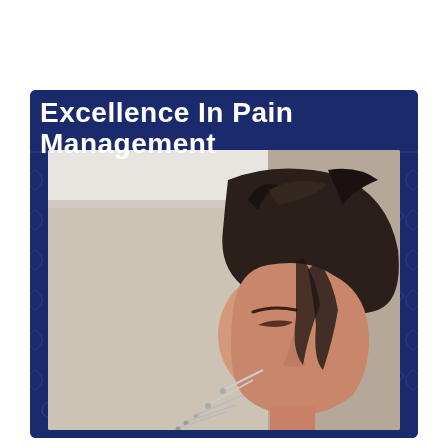Excellence In Pain Management
[Figure (photo): A person (appears to be a woman) with dark hair pulled up, eyes closed, head tilted downward, against a light-colored wall background. There appears to be a medical device or needle near the neck/shoulder area, suggestive of acupuncture or pain management treatment.]